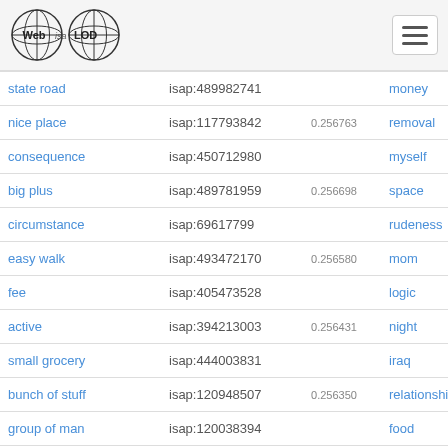Web isa LOD — navigation header
| term (left) | isap id (left) | score | term (right) | isap id (right) |
| --- | --- | --- | --- | --- |
| state road | isap:489982741 |  | money | isap:16002721 |
| nice place | isap:117793842 | 0.256763 | removal | isap:27370052 |
| consequence | isap:450712980 |  | myself | isap:38882405 |
| big plus | isap:489781959 | 0.256698 | space | isap:16327443 |
| circumstance | isap:69617799 |  | rudeness | isap:47912132 |
| easy walk | isap:493472170 | 0.256580 | mom | isap:21117618 |
| fee | isap:405473528 |  | logic | isap:16202562 |
| active | isap:394213003 | 0.256431 | night | isap:15983862 |
| small grocery | isap:444003831 |  | iraq | isap:30125808 |
| bunch of stuff | isap:120948507 | 0.256350 | relationship | isap:81895405 |
| group of man | isap:120038394 |  | food | isap:31034755 |